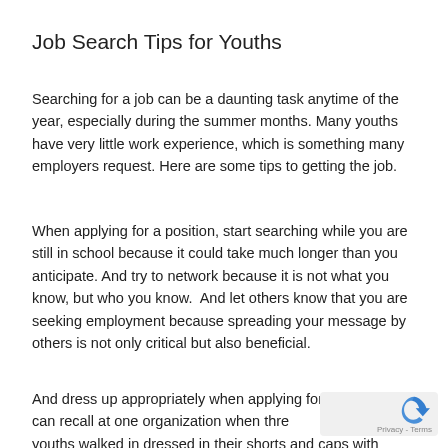Job Search Tips for Youths
Searching for a job can be a daunting task anytime of the year, especially during the summer months. Many youths have very little work experience, which is something many employers request. Here are some tips to getting the job.
When applying for a position, start searching while you are still in school because it could take much longer than you anticipate. And try to network because it is not what you know, but who you know.  And let others know that you are seeking employment because spreading your message by others is not only critical but also beneficial.
And dress up appropriately when applying for a position. I can recall at one organization when three youths walked in dressed in their shorts and caps with